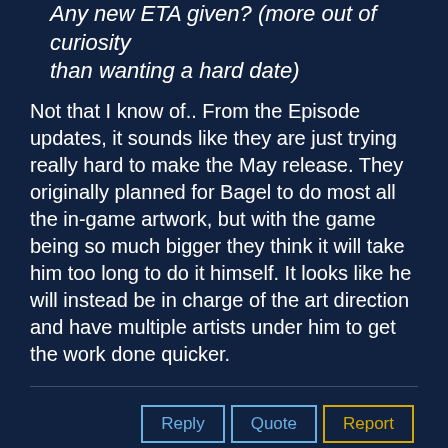Any new ETA given? (more out of curiosity than wanting a hard date)
Not that I know of.. From the Episode updates, it sounds like they are just trying really hard to make the May release. They originally planned for Bagel to do most all the in-game artwork, but with the game being so much bigger they think it will take him too long to do it himself. It looks like he will instead be in charge of the art direction and have multiple artists under him to get the work done quicker.
Reply | Quote | Report
10. Re: Double Fine Public Prototyping Project — Suckage — Nov 20, 2012, 10:32
I'm well aware of that. In fact I wish that they would do more of the forum posts (the production, art, programming, etc. ones). They